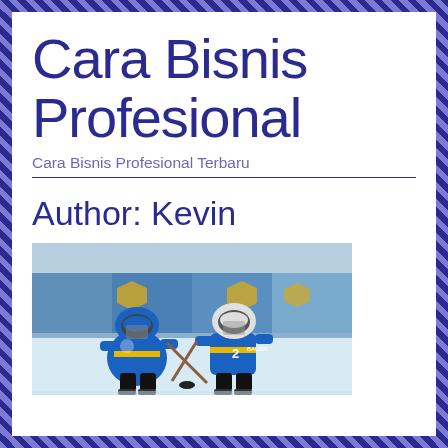Cara Bisnis Profesional
Cara Bisnis Profesional Terbaru
Author: Kevin
[Figure (photo): Two ice hockey players in blue and yellow uniforms facing each other on an ice rink, wearing helmets and holding sticks, with arena advertisements visible in the background.]